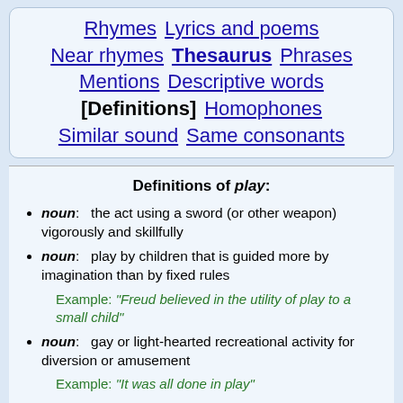Rhymes  Lyrics and poems  Near rhymes  Thesaurus  Phrases  Mentions  Descriptive words  [Definitions]  Homophones  Similar sound  Same consonants
Definitions of play:
noun: the act using a sword (or other weapon) vigorously and skillfully
noun: play by children that is guided more by imagination than by fixed rules
Example: "Freud believed in the utility of play to a small child"
noun: gay or light-hearted recreational activity for diversion or amusement
Example: "It was all done in play"
noun: a preset plan of action in team sports